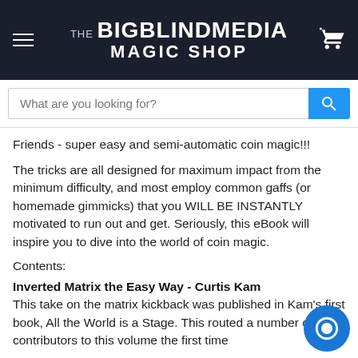THE BIGBLINDMEDIA MAGIC SHOP
Friends - super easy and semi-automatic coin magic!!!
The tricks are all designed for maximum impact from the minimum difficulty, and most employ common gaffs (or homemade gimmicks) that you WILL BE INSTANTLY motivated to run out and get. Seriously, this eBook will inspire you to dive into the world of coin magic.
Contents:
Inverted Matrix the Easy Way - Curtis Kam
This take on the matrix kickback was published in Kam's first book, All the World is a Stage. This route a number of the contributors to this volume the first time